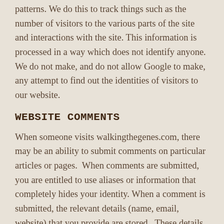patterns. We do this to track things such as the number of visitors to the various parts of the site and interactions with the site. This information is processed in a way which does not identify anyone. We do not make, and do not allow Google to make, any attempt to find out the identities of visitors to our website.
WEBSITE COMMENTS
When someone visits walkingthegenes.com, there may be an ability to submit comments on particular articles or pages.  When comments are submitted, you are entitled to use aliases or information that completely hides your identity. When a comment is submitted, the relevant details (name, email, website) that you provide are stored.  These details are